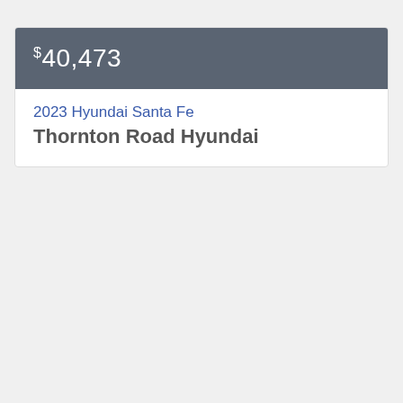$40,473
2023 Hyundai Santa Fe
Thornton Road Hyundai